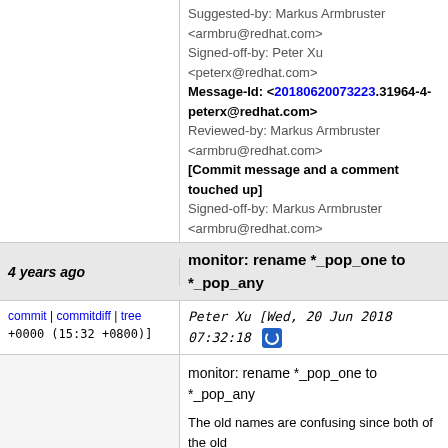Suggested-by: Markus Armbruster <armbru@redhat.com>
Signed-off-by: Peter Xu <peterx@redhat.com>
Message-Id: <20180620073223.31964-4-peterx@redhat.com>
Reviewed-by: Markus Armbruster <armbru@redhat.com>
[Commit message and a comment touched up]
Signed-off-by: Markus Armbruster <armbru@redhat.com>
4 years ago	monitor: rename *_pop_one to *_pop_any
commit | commitdiff | tree
Peter Xu [Wed, 20 Jun 2018 07:32:18 +0000 (15:32 +0800)]
monitor: rename *_pop_one to *_pop_any

The old names are confusing since both of the old functions pop an item from multiple queues rather than a single one. In this sense, *_pop_any() suites better than *_pop_one()

Since at it, touch up the function monitor_qmp_res to let the callers pass in a QMPResponse struct instead of the struct.  Change the return value to boolean to mark whether popped a valid response instead.

Suggested-by: Markus Armbruster <armbru@redhat.com>